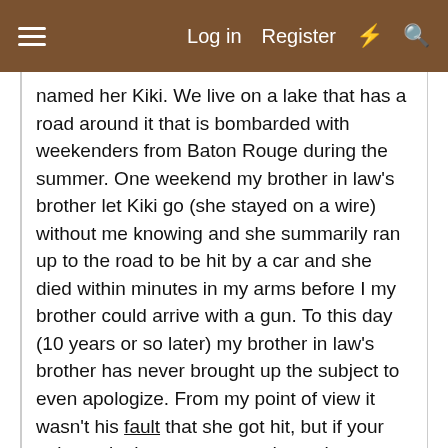≡   Log in   Register   ⚡   🔍
named her Kiki. We live on a lake that has a road around it that is bombarded with weekenders from Baton Rouge during the summer. One weekend my brother in law's brother let Kiki go (she stayed on a wire) without me knowing and she summarily ran up to the road to be hit by a car and she died within minutes in my arms before I my brother could arrive with a gun. To this day (10 years or so later) my brother in law's brother has never brought up the subject to even apologize. From my point of view it wasn't his fault that she got hit, but if your going to let her go, you need to at least watch her.
Not that this is even close to what happened with you Joy. You seemed to have done much more than you should be expected. You never know what kinds of relationship someone has with a pet (dog); it may be better that you explain in person. Maybe my situation